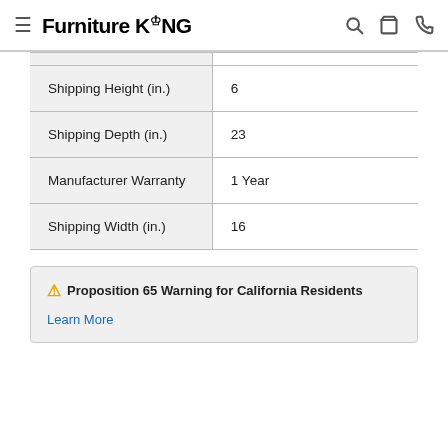Furniture King
|  |  |
| --- | --- |
| Shipping Height (in.) | 6 |
| Shipping Depth (in.) | 23 |
| Manufacturer Warranty | 1 Year |
| Shipping Width (in.) | 16 |
⚠ Proposition 65 Warning for California Residents
Learn More